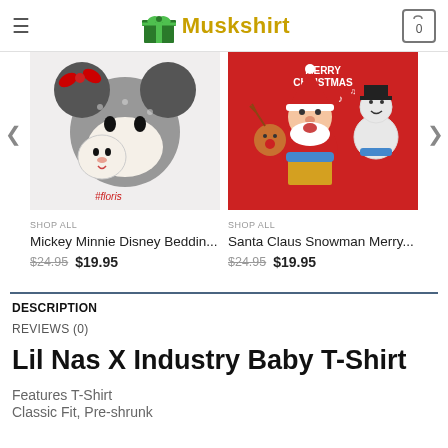Muskshirt
[Figure (photo): Mickey and Minnie Disney bedding product image]
SHOP ALL
Mickey Minnie Disney Beddin...
$24.95  $19.95
[Figure (photo): Santa Claus Snowman Merry Christmas bedding product image]
SHOP ALL
Santa Claus Snowman Merry...
$24.95  $19.95
DESCRIPTION
REVIEWS (0)
Lil Nas X Industry Baby T-Shirt
Features T-Shirt
Classic Fit, Pre-shrunk